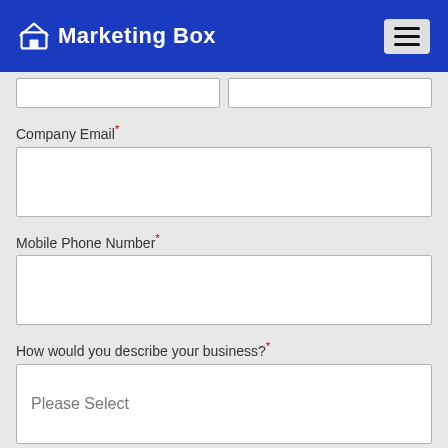Marketing Box
[Figure (screenshot): Partial form row with two text input fields (truncated at top)]
Company Email*
[Figure (screenshot): Empty text input box for Company Email]
Mobile Phone Number*
[Figure (screenshot): Empty text input box for Mobile Phone Number]
How would you describe your business?*
[Figure (screenshot): Dropdown select input showing 'Please Select']
Get Started